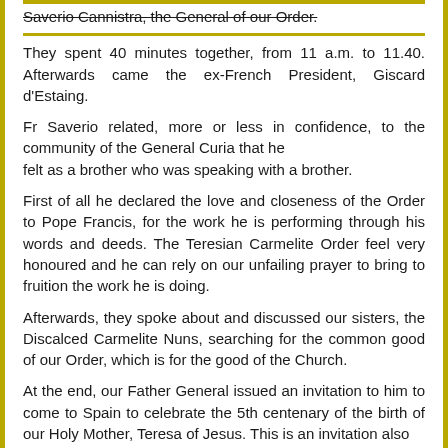Saverio Cannistra, the General of our Order.
They spent 40 minutes together, from 11 a.m. to 11.40. Afterwards came the ex-French President, Giscard d'Estaing.
Fr Saverio related, more or less in confidence, to the community of the General Curia that he felt as a brother who was speaking with a brother.
First of all he declared the love and closeness of the Order to Pope Francis, for the work he is performing through his words and deeds. The Teresian Carmelite Order feel very honoured and he can rely on our unfailing prayer to bring to fruition the work he is doing.
Afterwards, they spoke about and discussed our sisters, the Discalced Carmelite Nuns, searching for the common good of our Order, which is for the good of the Church.
At the end, our Father General issued an invitation to him to come to Spain to celebrate the 5th centenary of the birth of our Holy Mother, Teresa of Jesus. This is an invitation also